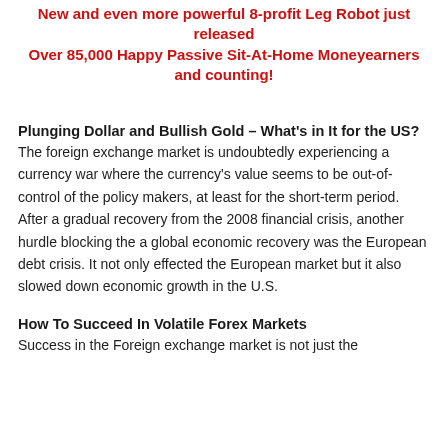New and even more powerful 8-profit Leg Robot just released Over 85,000 Happy Passive Sit-At-Home Moneyearners and counting!
Plunging Dollar and Bullish Gold – What's in It for the US?
The foreign exchange market is undoubtedly experiencing a currency war where the currency's value seems to be out-of-control of the policy makers, at least for the short-term period. After a gradual recovery from the 2008 financial crisis, another hurdle blocking the a global economic recovery was the European debt crisis. It not only effected the European market but it also slowed down economic growth in the U.S.
How To Succeed In Volatile Forex Markets
Success in the Foreign exchange market is not just the